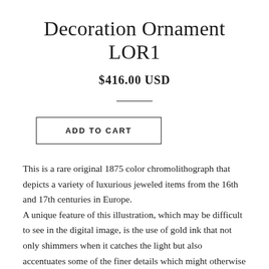Decoration Ornament LOR1
$416.00 USD
ADD TO CART
This is a rare original 1875 color chromolithograph that depicts a variety of luxurious jeweled items from the 16th and 17th centuries in Europe. A unique feature of this illustration, which may be difficult to see in the digital image, is the use of gold ink that not only shimmers when it catches the light but also accentuates some of the finer details which might otherwise be missed.